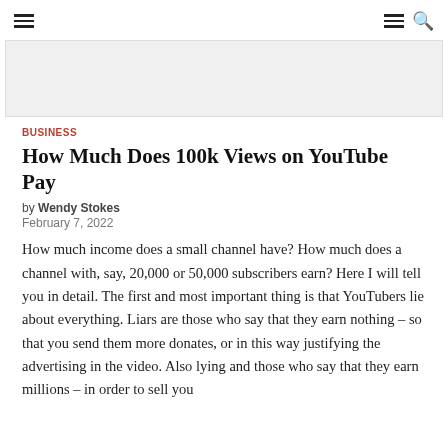≡  ≡ 🔍
[Figure (other): Gray advertisement banner rectangle]
BUSINESS
How Much Does 100k Views on YouTube Pay
by Wendy Stokes
February 7, 2022
How much income does a small channel have? How much does a channel with, say, 20,000 or 50,000 subscribers earn? Here I will tell you in detail. The first and most important thing is that YouTubers lie about everything. Liars are those who say that they earn nothing – so that you send them more donates, or in this way justifying the advertising in the video. Also lying and those who say that they earn millions – in order to sell you